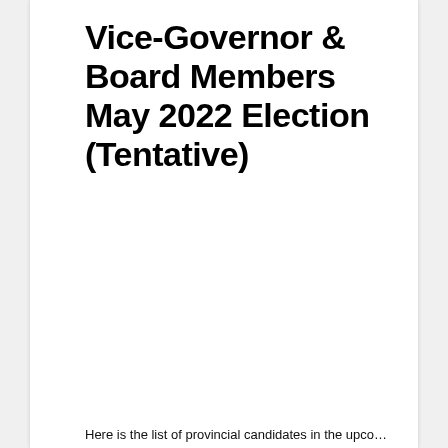Vice-Governor & Board Members May 2022 Election (Tentative)
Here is the list of provincial candidates in the upcoming